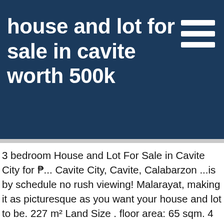house and lot for sale in cavite worth 500k
3 bedroom House and Lot For Sale in Cavite City for ₱... Cavite City, Cavite, Calabarzon ...is by schedule no rush viewing! Malarayat, making it as picturesque as you want your house and lot to be. 227 m² Land Size . floor area: 65 sqm. 4 Bedroom House for sale in Metrogate Tagaytay Manors... Tagaytay, Cavite, Calabarzon ...Discount! House and Lot For Sale Alta Montebellos main house model is a duplex bungalow named Lilac Twins. We will help you find your dream home that suits your budget. Cavite Homes | Cavite House and Lot to choose from: Finding Your Next Home is Just a Click Away Click on any of the subdivision below to find out more... CAVITE HOMES FEATURED PROJECT. 125 m² Floor area . m Floor Area: 53 sq. I am looking for a buyer for my house. A Life in